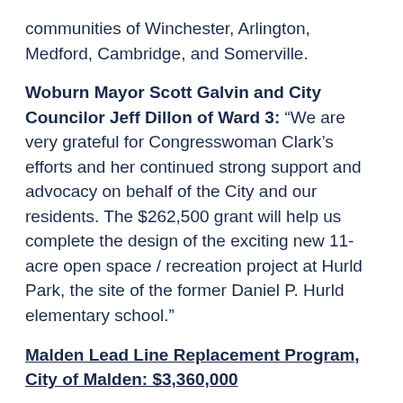communities of Winchester, Arlington, Medford, Cambridge, and Somerville.
Woburn Mayor Scott Galvin and City Councilor Jeff Dillon of Ward 3: “We are very grateful for Congresswoman Clark’s efforts and her continued strong support and advocacy on behalf of the City and our residents. The $262,500 grant will help us complete the design of the exciting new 11-acre open space / recreation project at Hurld Park, the site of the former Daniel P. Hurld elementary school.”
Malden Lead Line Replacement Program, City of Malden: $3,360,000
The funding will be used for accelerating the replacement of lead service lines delivering drinking water to Malden residents. In recent years, Malden